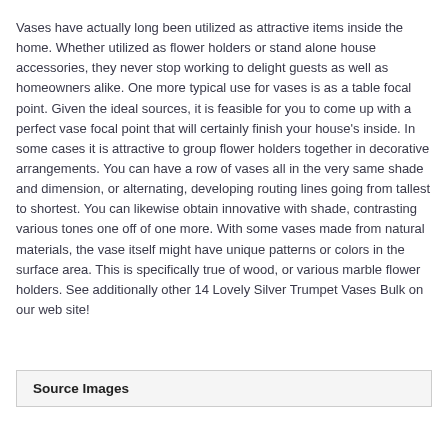Vases have actually long been utilized as attractive items inside the home. Whether utilized as flower holders or stand alone house accessories, they never stop working to delight guests as well as homeowners alike. One more typical use for vases is as a table focal point. Given the ideal sources, it is feasible for you to come up with a perfect vase focal point that will certainly finish your house's inside. In some cases it is attractive to group flower holders together in decorative arrangements. You can have a row of vases all in the very same shade and dimension, or alternating, developing routing lines going from tallest to shortest. You can likewise obtain innovative with shade, contrasting various tones one off of one more. With some vases made from natural materials, the vase itself might have unique patterns or colors in the surface area. This is specifically true of wood, or various marble flower holders. See additionally other 14 Lovely Silver Trumpet Vases Bulk on our web site!
Source Images